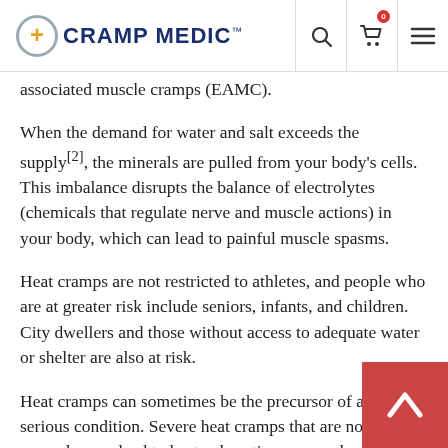CRAMP MEDIC™
associated muscle cramps (EAMC).
When the demand for water and salt exceeds the supply[2], the minerals are pulled from your body's cells. This imbalance disrupts the balance of electrolytes (chemicals that regulate nerve and muscle actions) in your body, which can lead to painful muscle spasms.
Heat cramps are not restricted to athletes, and people who are at greater risk include seniors, infants, and children. City dwellers and those without access to adequate water or shelter are also at risk.
Heat cramps can sometimes be the precursor of a more serious condition. Severe heat cramps that are not treated properly may lead to heat exhaustion or even heat stroke. Hot temperatures